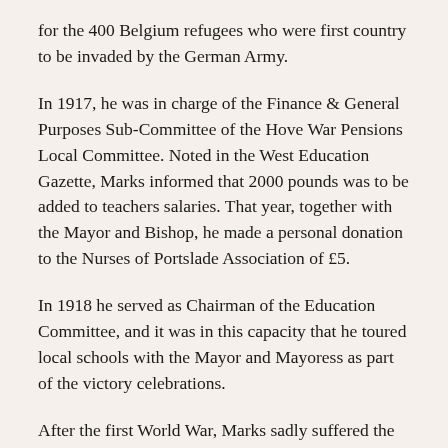for the 400 Belgium refugees who were first country to be invaded by the German Army.
In 1917, he was in charge of the Finance & General Purposes Sub-Committee of the Hove War Pensions Local Committee. Noted in the West Education Gazette, Marks informed that 2000 pounds was to be added to teachers salaries. That year, together with the Mayor and Bishop, he made a personal donation to the Nurses of Portslade Association of £5.
In 1918 he served as Chairman of the Education Committee, and it was in this capacity that he toured local schools with the Mayor and Mayoress as part of the victory celebrations.
After the first World War, Marks sadly suffered the loss of his eldest son Arthur Sampson who was enlisted in October of 1914 in the 9th Royal Sussex Regiment. Arthur had been sent to France in 1915 and suffered severe shell shock after serving with a trench mortar battery.